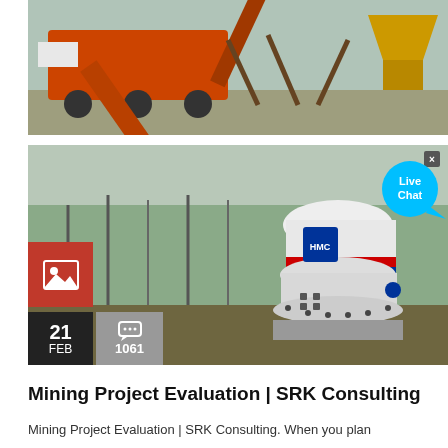[Figure (photo): Large orange mining/crushing equipment with conveyor belts on a gravel site]
[Figure (photo): White cone crusher machine with red and blue bands, HMC branding, outdoors near bare trees. Live Chat bubble overlay in top right. Red image icon box and dark date/comment boxes overlaid on lower left.]
Mining Project Evaluation | SRK Consulting
Mining Project Evaluation | SRK Consulting. When you plan